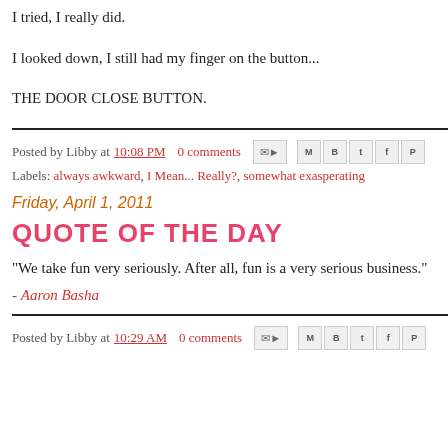I tried, I really did.
I looked down, I still had my finger on the button...
THE DOOR CLOSE BUTTON.
Posted by Libby at 10:08 PM   0 comments
Labels: always awkward, I Mean... Really?, somewhat exasperating
Friday, April 1, 2011
QUOTE OF THE DAY
"We take fun very seriously. After all, fun is a very serious business."
- Aaron Basha
Posted by Libby at 10:29 AM   0 comments